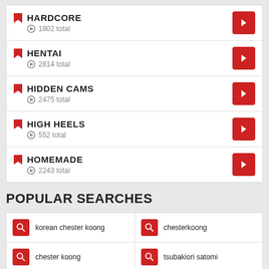HARDCORE — 1802 total
HENTAI — 2814 total
HIDDEN CAMS — 2475 total
HIGH HEELS — 552 total
HOMEMADE — 2243 total
POPULAR SEARCHES
korean chester koong
chesterkoong
chester koong
tsubakiori satomi